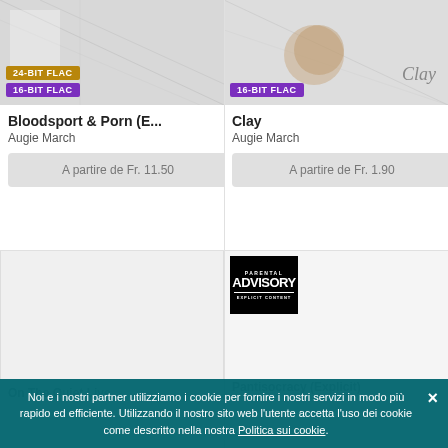[Figure (other): Album art for Bloodsport & Porn (E... by Augie March with 24-BIT FLAC and 16-BIT FLAC badges]
Bloodsport & Porn (E...
Augie March
A partire de Fr. 11.50
[Figure (other): Album art for Clay by Augie March with Clay text and 16-BIT FLAC badge]
Clay
Augie March
A partire de Fr. 1.90
[Figure (other): Blank album art placeholder bottom left]
[Figure (other): Parental Advisory Explicit Content badge]
On The Quiet Live...
Noi e i nostri partner utilizziamo i cookie per fornire i nostri servizi in modo più rapido ed efficiente. Utilizzando il nostro sito web l'utente accetta l'uso dei cookie come descritto nella nostra Politica sui cookie.